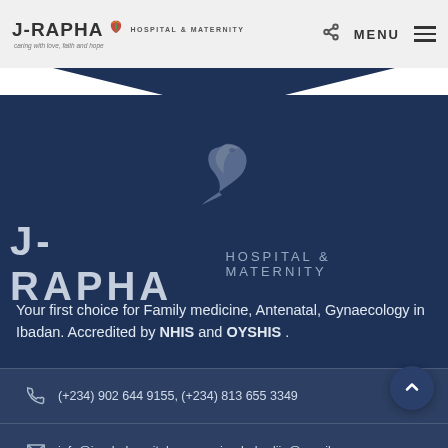J-RAPHA HOSPITAL & MATERNITY | caring with love, faith and hope | MENU
[Figure (logo): J-Rapha Hospital & Maternity logo with dove and leaf motif on dark blue background]
Your first choice for Family medicine, Antenatal, Gynaecology in Ibadan. Accredited by NHIS and OYSHIS .
(+234) 902 644 9155, (+234) 813 655 3349
info@jraphahospital.com.ng, jraphabodija@gmail.com